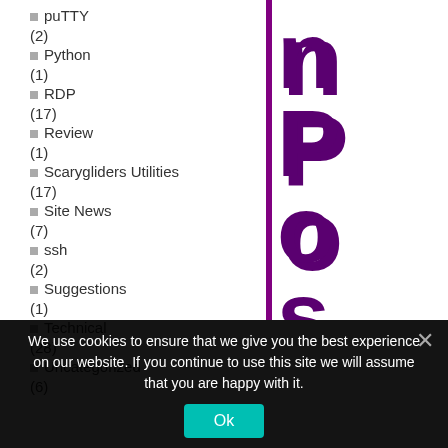puTTY (2)
Python (1)
RDP (17)
Review (1)
Scarygliders Utilities (17)
Site News (7)
ssh (2)
Suggestions (1)
Technical (28)
Uncategorized (6)
[Figure (other): Vertical text reading 'nPostgres' in large bold purple letters rotated sideways]
We use cookies to ensure that we give you the best experience on our website. If you continue to use this site we will assume that you are happy with it.